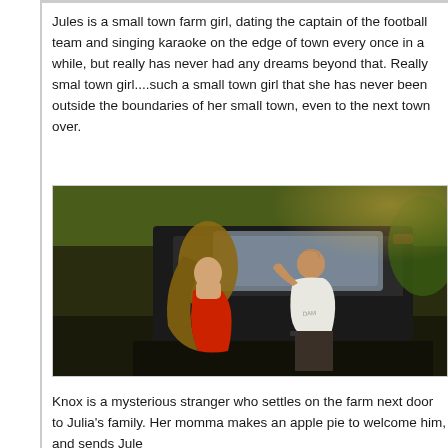Jules is a small town farm girl, dating the captain of the football team and singing karaoke on the edge of town every once in a while, but really has never had any dreams beyond that. Really smal town girl....such a small town girl that she has never been outside the boundaries of her small town, even to the next town over.
[Figure (photo): A man and woman near a pickup truck outdoors. The woman wears a red dress with long flowing hair, and the man wears a white t-shirt leaning against the truck with his hand on his head.]
Knox is a mysterious stranger who settles on the farm next door to Julia's family. Her momma makes an apple pie to welcome him, and sends Jule